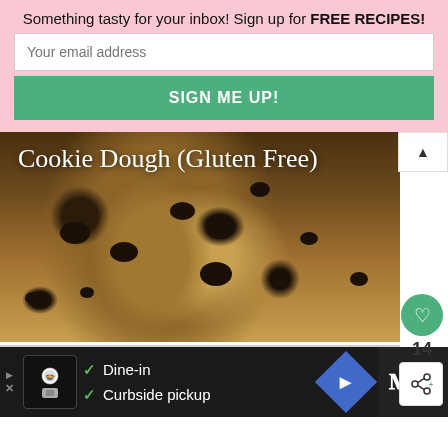Something tasty for your inbox! Sign up for FREE RECIPES!
Your email address
SIGN ME UP!
[Figure (photo): Cookie dough in a glass jar with chocolate chips, labeled 'Cookie Dough (Gluten Free)']
[Figure (photo): Glazed salmon on a white plate with a fork and green herb garnish, with 'WHAT'S NEXT → Cilantro Lime Pasta Salad' overlay]
[Figure (infographic): Advertisement bar showing restaurant logo, checkmarks for 'Dine-in' and 'Curbside pickup', Google Maps direction icon, and Waze icon]